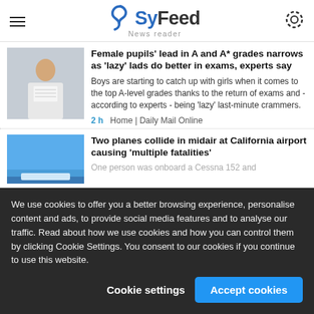SyFeed News reader
[Figure (photo): Student in white shirt reading papers]
Female pupils' lead in A and A* grades narrows as 'lazy' lads do better in exams, experts say
Boys are starting to catch up with girls when it comes to the top A-level grades thanks to the return of exams and - according to experts - being 'lazy' last-minute crammers.
2 h    Home | Daily Mail Online
[Figure (photo): Blue sky airplane photo]
Two planes collide in midair at California airport causing 'multiple fatalities'
One person was onboard a Cessna 152 and
We use cookies to offer you a better browsing experience, personalise content and ads, to provide social media features and to analyse our traffic. Read about how we use cookies and how you can control them by clicking Cookie Settings. You consent to our cookies if you continue to use this website.
Cookie settings   Accept cookies